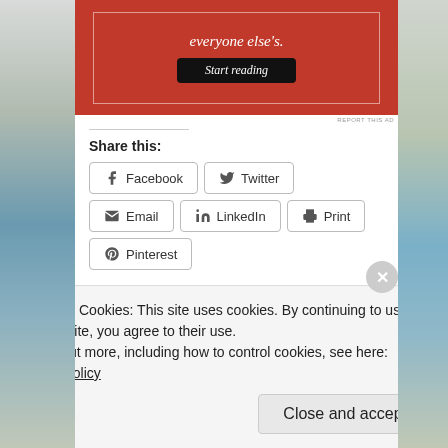[Figure (screenshot): Red advertisement banner with italic text 'everyone else's.' and a black 'Start reading' button inside a white-bordered box]
REPORT THIS AD
Share this:
Facebook  Twitter  Email  LinkedIn  Print  Pinterest
Loading...
June 4, 2011 in Good Times, Picture Days, Tags:
Privacy & Cookies: This site uses cookies. By continuing to use this website, you agree to their use.
To find out more, including how to control cookies, see here: Cookie Policy
Close and accept